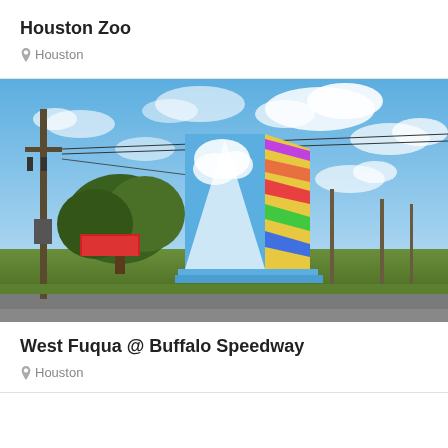Houston Zoo
Houston
[Figure (photo): Outdoor street art on a large utility box painted with a blue sky and clouds scene on one side and colorful geometric patterns on another side, set in a grassy area with power lines and trees in the background.]
West Fuqua @ Buffalo Speedway
Houston